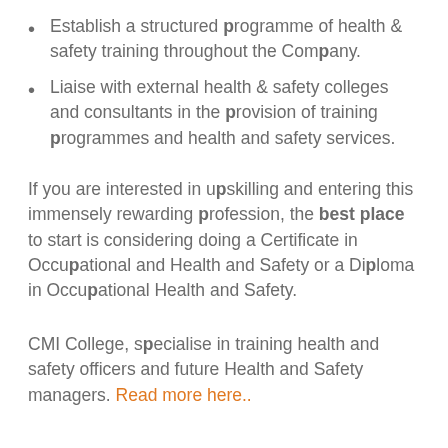Establish a structured programme of health & safety training throughout the Company.
Liaise with external health & safety colleges and consultants in the provision of training programmes and health and safety services.
If you are interested in upskilling and entering this immensely rewarding profession, the best place to start is considering doing a Certificate in Occupational and Health and Safety or a Diploma in Occupational Health and Safety.
CMI College, specialise in training health and safety officers and future Health and Safety managers. Read more here..